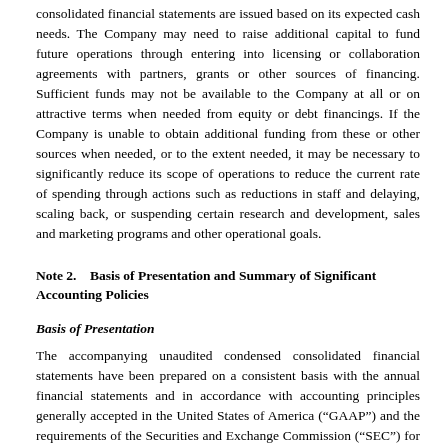consolidated financial statements are issued based on its expected cash needs. The Company may need to raise additional capital to fund future operations through entering into licensing or collaboration agreements with partners, grants or other sources of financing. Sufficient funds may not be available to the Company at all or on attractive terms when needed from equity or debt financings. If the Company is unable to obtain additional funding from these or other sources when needed, or to the extent needed, it may be necessary to significantly reduce its scope of operations to reduce the current rate of spending through actions such as reductions in staff and delaying, scaling back, or suspending certain research and development, sales and marketing programs and other operational goals.
Note 2.    Basis of Presentation and Summary of Significant Accounting Policies
Basis of Presentation
The accompanying unaudited condensed consolidated financial statements have been prepared on a consistent basis with the annual financial statements and in accordance with accounting principles generally accepted in the United States of America (“GAAP”) and the requirements of the Securities and Exchange Commission (“SEC”) for interim reporting. Pursuant to these SEC rules and regulations, the Company has condensed or omitted certain financial information and disclosures normally included in annual financial statements prepared in accordance with GAAP. In the